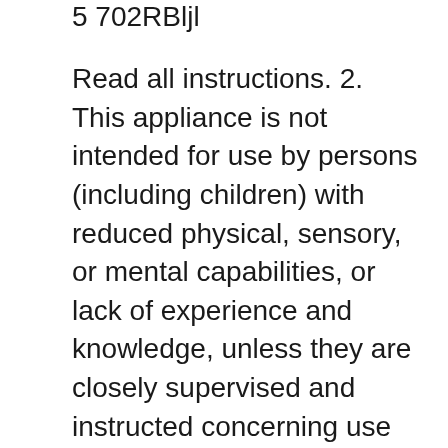5 702RBljl
Read all instructions. 2. This appliance is not intended for use by persons (including children) with reduced physical, sensory, or mental capabilities, or lack of experience and knowledge, unless they are closely supervised and instructed concerning use of the appliance by a вЂ¦ Beach 702R user manual online. Hamilton Beach 702R: User Guide. 702R Food Processor pdf manual download. Get more for little with the Hamilton Beach Top Mount Food Processor Dishwasher safe parts, Includes recipe / instruction book, spatula and how-to DVD. Hamilton Beach Food Processor